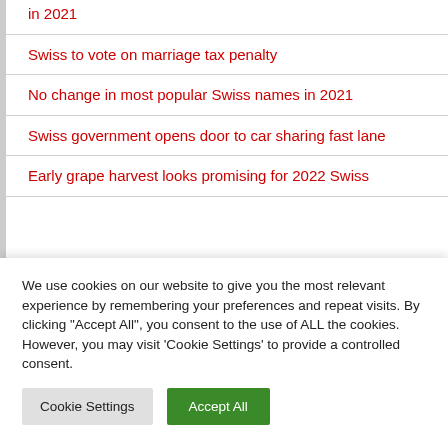in 2021
Swiss to vote on marriage tax penalty
No change in most popular Swiss names in 2021
Swiss government opens door to car sharing fast lane
Early grape harvest looks promising for 2022 Swiss
We use cookies on our website to give you the most relevant experience by remembering your preferences and repeat visits. By clicking "Accept All", you consent to the use of ALL the cookies. However, you may visit 'Cookie Settings' to provide a controlled consent.